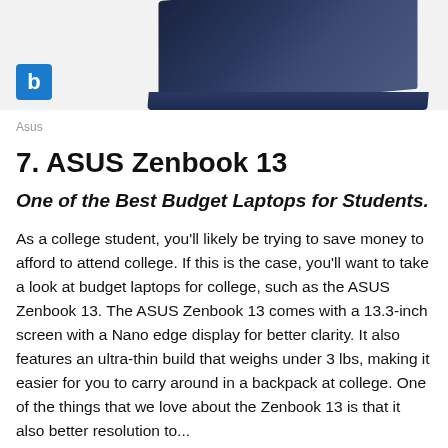[Figure (photo): Partial view of an ASUS Zenbook 13 laptop in dark navy/blue color, shown from above at an angle against a light gray background, with a blue 'b' icon in the lower-left of the image area.]
Asus
7. ASUS Zenbook 13
One of the Best Budget Laptops for Students.
As a college student, you'll likely be trying to save money to afford to attend college. If this is the case, you'll want to take a look at budget laptops for college, such as the ASUS Zenbook 13. The ASUS Zenbook 13 comes with a 13.3-inch screen with a Nano edge display for better clarity. It also features an ultra-thin build that weighs under 3 lbs, making it easier for you to carry around in a backpack at college. One of the things that we love about the Zenbook 13 is that it also better resolution to...